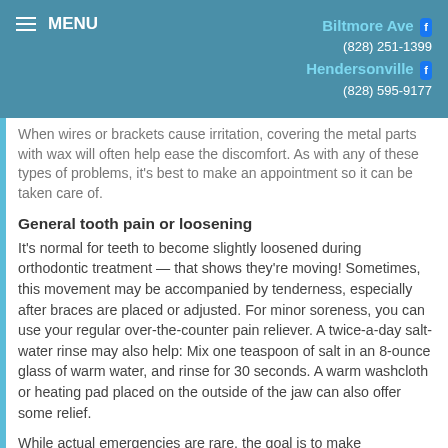MENU | Biltmore Ave (828) 251-1399 | Hendersonville (828) 595-9177
When wires or brackets cause irritation, covering the metal parts with wax will often help ease the discomfort. As with any of these types of problems, it's best to make an appointment so it can be taken care of.
General tooth pain or loosening
It's normal for teeth to become slightly loosened during orthodontic treatment — that shows they're moving! Sometimes, this movement may be accompanied by tenderness, especially after braces are placed or adjusted. For minor soreness, you can use your regular over-the-counter pain reliever. A twice-a-day salt-water rinse may also help: Mix one teaspoon of salt in an 8-ounce glass of warm water, and rinse for 30 seconds. A warm washcloth or heating pad placed on the outside of the jaw can also offer some relief.
While actual emergencies are rare, the goal is to make